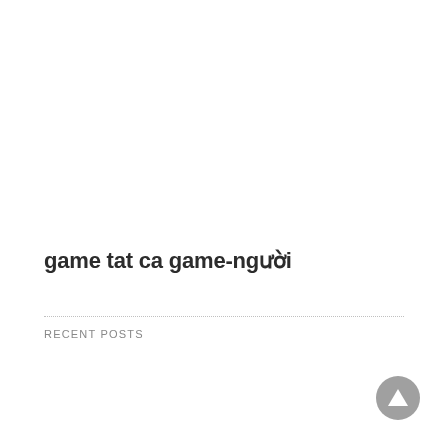game tat ca game-người
RECENT POSTS
[Figure (illustration): Grey circular back-to-top button with upward-pointing triangle/arrow icon]